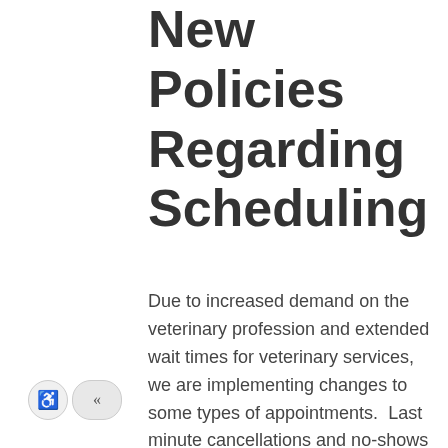New Policies Regarding Scheduling
Due to increased demand on the veterinary profession and extended wait times for veterinary services, we are implementing changes to some types of appointments.  Last minute cancellations and no-shows hinder our ability to help other pets who need our care, therefore the following new policies are in place: -New clients, who have not been to PRAC, or are not active clients, will need to pay a $49 deposit in order to schedule an appointment. If multiple pets are being scheduled in the same visit, the $49 deposit